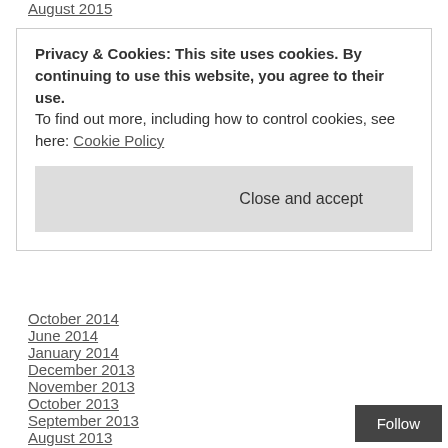August 2015
Privacy & Cookies: This site uses cookies. By continuing to use this website, you agree to their use. To find out more, including how to control cookies, see here: Cookie Policy
October 2014
June 2014
January 2014
December 2013
November 2013
October 2013
September 2013
August 2013
July 2013
June 2013
May 2013
April 2013
March 2013